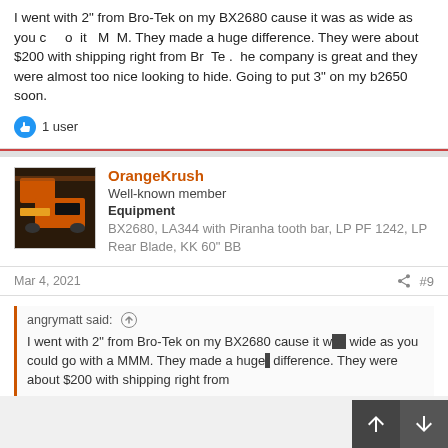I went with 2" from Bro-Tek on my BX2680 cause it was as wide as you could go with a MMM. They made a huge difference. They were about $200 with shipping right from Bro-Tek. The company is great and they were almost too nice looking to hide. Going to put 3" on my b2650 soon.
1 user
OrangeKrush
Well-known member
Equipment
BX2680, LA344 with Piranha tooth bar, LP PF 1242, LP Rear Blade, KK 60" BB
Mar 4, 2021
#9
angrymatt said:
I went with 2" from Bro-Tek on my BX2680 cause it was wide as you could go with a MMM. They made a huge difference. They were about $200 with shipping right from